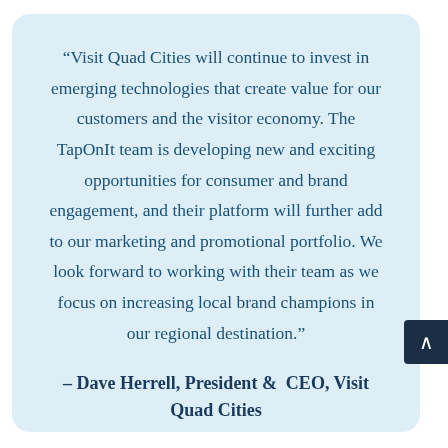“Visit Quad Cities will continue to invest in emerging technologies that create value for our customers and the visitor economy. The TapOnIt team is developing new and exciting opportunities for consumer and brand engagement, and their platform will further add to our marketing and promotional portfolio. We look forward to working with their team as we focus on increasing local brand champions in our regional destination.”
– Dave Herrell, President &  CEO, Visit Quad Cities